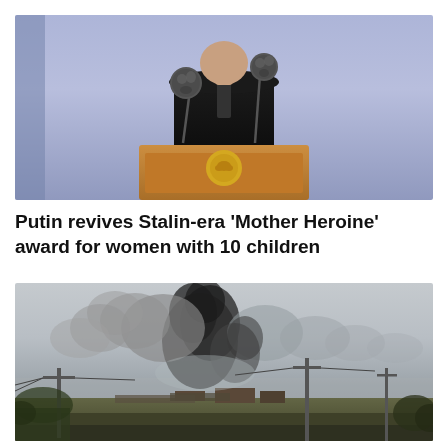[Figure (photo): A person in a dark suit standing at a wooden podium with a gold emblem, two microphones in front, against a light purple/blue background]
Putin revives Stalin-era 'Mother Heroine' award for women with 10 children
[Figure (photo): Large plumes of dark and grey smoke rising over a flat landscape with power lines and sparse vegetation, showing what appears to be an explosion or fire in the distance]